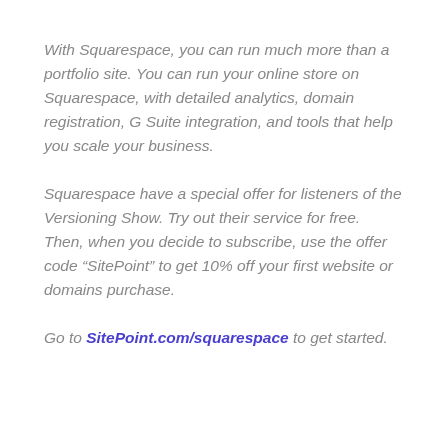With Squarespace, you can run much more than a portfolio site. You can run your online store on Squarespace, with detailed analytics, domain registration, G Suite integration, and tools that help you scale your business.
Squarespace have a special offer for listeners of the Versioning Show. Try out their service for free. Then, when you decide to subscribe, use the offer code “SitePoint” to get 10% off your first website or domains purchase.
Go to SitePoint.com/squarespace to get started.